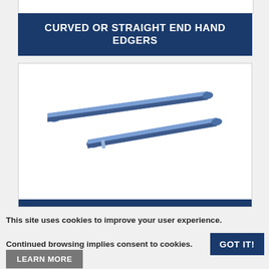CURVED OR STRAIGHT END HAND EDGERS
[Figure (photo): Two blue cylindrical hand edger rods shown diagonally, one slightly above and longer than the other, against a white background with a dark blue bottom bar.]
This site uses cookies to improve your user experience.
Continued browsing implies consent to cookies.
GOT IT!
LEARN MORE